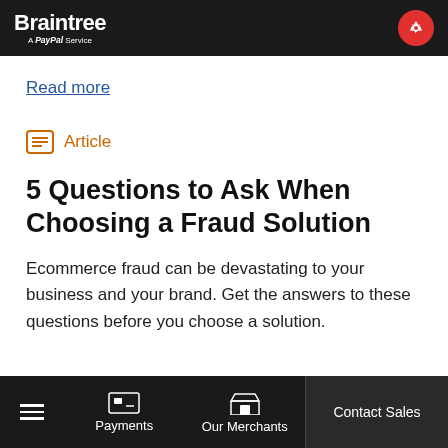Braintree — A PayPal Service
Read more
Article
5 Questions to Ask When Choosing a Fraud Solution
Ecommerce fraud can be devastating to your business and your brand. Get the answers to these questions before you choose a solution.
Payments | Our Merchants | Contact Sales